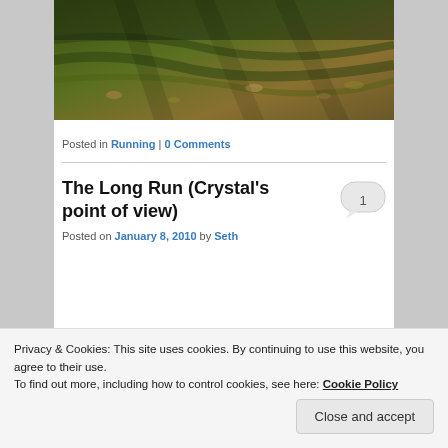[Figure (photo): A ground-level photograph showing mossy ground with fallen leaves and grass, taken outdoors in natural light.]
Posted in Running | 0 Comments
The Long Run (Crystal's point of view)
Posted on January 8, 2010 by Seth
Privacy & Cookies: This site uses cookies. By continuing to use this website, you agree to their use.
To find out more, including how to control cookies, see here: Cookie Policy